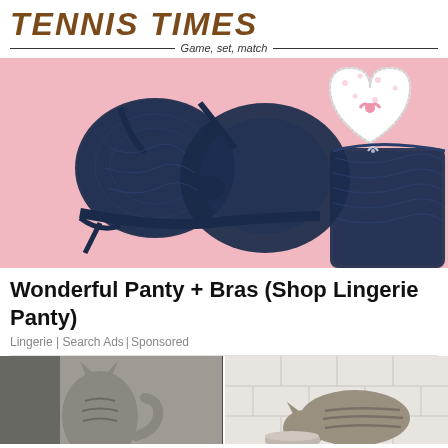TENNIS TIMES — Game, set, match
[Figure (photo): Dark navy blue lace bra and matching panty set with heart-shaped gift box on pink background]
Wonderful Panty + Bras (Shop Lingerie Panty)
Lingerie | Search Ads | Sponsored
[Figure (photo): Two cats photographed side by side — one from behind and one eating from a bowl]